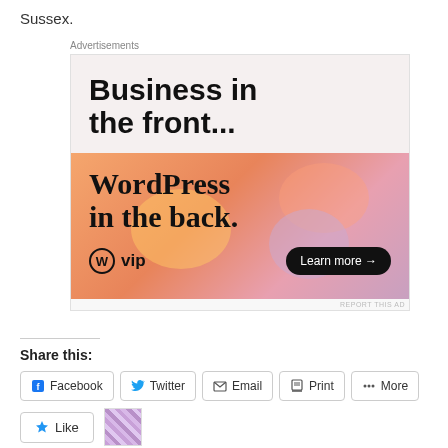Sussex.
[Figure (other): WordPress VIP advertisement: top section with 'Business in the front...' on light background; bottom section with 'WordPress in the back.' on orange-pink gradient with WordPress VIP logo and 'Learn more →' button.]
Share this:
Facebook
Twitter
Email
Print
More
Like